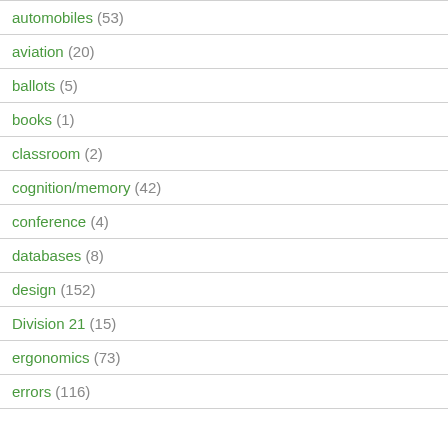automobiles (53)
aviation (20)
ballots (5)
books (1)
classroom (2)
cognition/memory (42)
conference (4)
databases (8)
design (152)
Division 21 (15)
ergonomics (73)
errors (116)